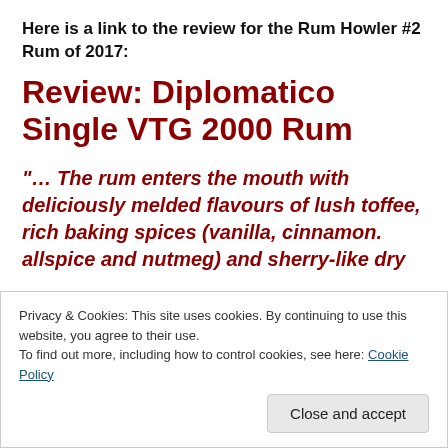Here is a link to the review for the Rum Howler #2 Rum of 2017:
Review: Diplomatico Single VTG 2000 Rum
“… The rum enters the mouth with deliciously melded flavours of lush toffee, rich baking spices (vanilla, cinnamon. allspice and nutmeg) and sherry-like dry
Privacy & Cookies: This site uses cookies. By continuing to use this website, you agree to their use.
To find out more, including how to control cookies, see here: Cookie Policy
Close and accept